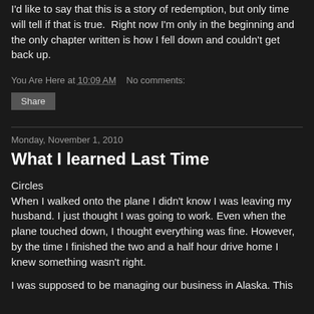I'd like to say that this is a story of redemption, but only time will tell if that is true.  Right now I'm only in the beginning and the only chapter written is how I fell down and couldn't get back up.
You Are Here at 10:09 AM   No comments:
Share
Monday, November 1, 2010
What I learned Last Time
Circles
When I walked onto the plane I didn't know I was leaving my husband. I just thought I was going to work. Even when the plane touched down, I thought everything was fine. However, by the time I finished the two and a half hour drive home I knew something wasn't right.
I was supposed to be managing our business in Alaska. This